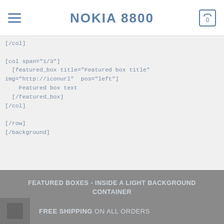NOKIA 8800
[/col]

[col span="1/3"]
  [featured_box title="Featured box title" img="http://iconurl"  pos="left"]
    Featured box text
  [/featured_box]
[/col]

[/row]
[/background]
FEATURED BOXES - INSIDE A LIGHT BACKGROUND CONTAINER
FREE SHIPPING ON ALL ORDERS